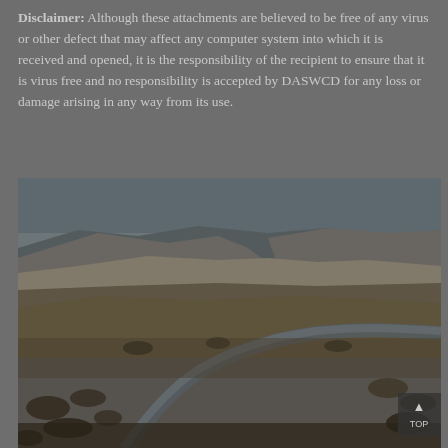Disclaimer: Although these attachments are believed to be free of any virus or other defect that may affect any computer system into which it is received and opened, it is the responsibility of the recipient to ensure that it is virus free and no responsibility is accepted by DASWCD for any loss or damage arising in any way from its use.
[Figure (photo): Aerial or elevated landscape photograph showing a winding river through a desert canyon with rocky mesas, dry scrubland, and sparse vegetation under a clear sky. A small dark overlay button with an upward arrow and 'TOP' label appears in the lower right corner.]